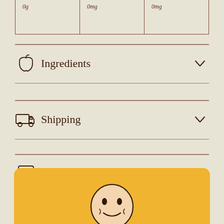|  |  |  |
| --- | --- | --- |
| 0g | 0mg | 0mg |
Ingredients
Shipping
Nutritional Information
30-Day Happiness Guarantee
[Figure (illustration): Yellow rounded card with a cartoon smiley face illustration at the bottom of the page]